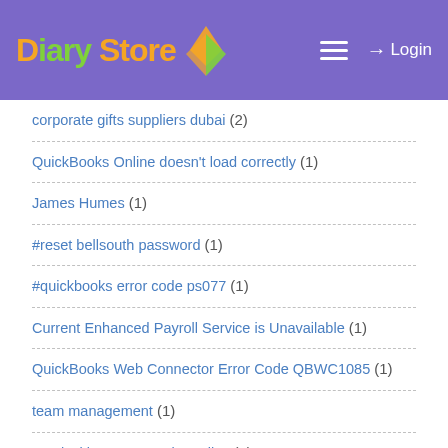Diary Store — Login
corporate gifts suppliers dubai (2)
QuickBooks Online doesn't load correctly (1)
James Humes (1)
#reset bellsouth password (1)
#quickbooks error code ps077 (1)
Current Enhanced Payroll Service is Unavailable (1)
QuickBooks Web Connector Error Code QBWC1085 (1)
team management (1)
Interlocking Garage Floor Tiles (1)
how to resolve quickbooks has stopped working (1)
I am Getting Errors While Updating QuickBooks (1)
ludo money app (1)